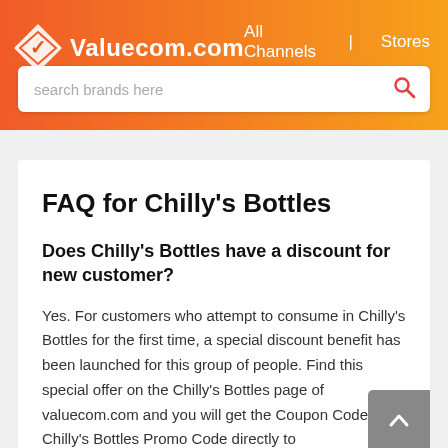Valuecom.com  All Channels  Stores
FAQ for Chilly's Bottles
Does Chilly's Bottles have a discount for new customer?
Yes. For customers who attempt to consume in Chilly's Bottles for the first time, a special discount benefit has been launched for this group of people. Find this special offer on the Chilly's Bottles page of valuecom.com and you will get the Coupon Code. Use Chilly's Bottles Promo Code directly to